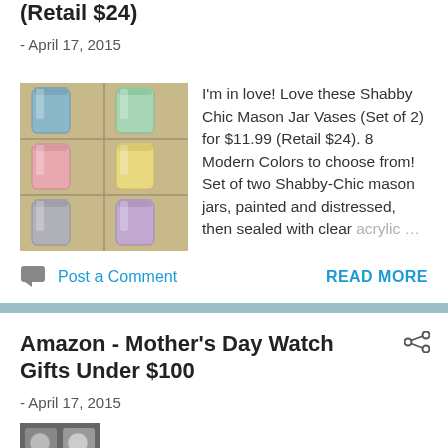(Retail $24)
- April 17, 2015
[Figure (photo): Grid of 6 Shabby Chic mason jar vases in pastel colors: blue, mint, pink, yellow, gray, purple]
I'm in love!  Love these  Shabby Chic Mason Jar Vases (Set of 2)  for $11.99 (Retail $24). 8 Modern Colors to choose from! Set of two Shabby-Chic mason jars, painted and distressed, then sealed with clear acrylic ...
Post a Comment
READ MORE
Amazon - Mother's Day Watch Gifts Under $100
- April 17, 2015